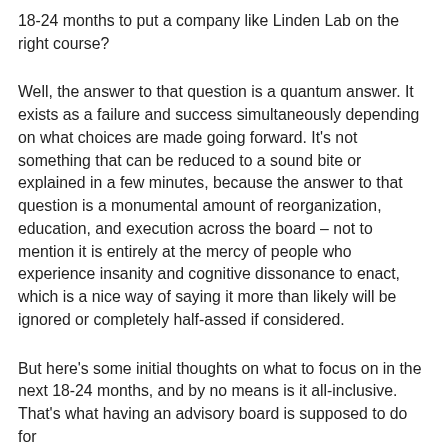18-24 months to put a company like Linden Lab on the right course?
Well, the answer to that question is a quantum answer. It exists as a failure and success simultaneously depending on what choices are made going forward. It's not something that can be reduced to a sound bite or explained in a few minutes, because the answer to that question is a monumental amount of reorganization, education, and execution across the board – not to mention it is entirely at the mercy of people who experience insanity and cognitive dissonance to enact, which is a nice way of saying it more than likely will be ignored or completely half-assed if considered.
But here's some initial thoughts on what to focus on in the next 18-24 months, and by no means is it all-inclusive. That's what having an advisory board is supposed to do for